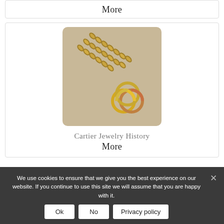More
[Figure (photo): A gold chain necklace with a trinity ring pendant (three interlocked gold rings) against a light grey background. The image has rounded corners.]
Cartier Jewelry History
More
We use cookies to ensure that we give you the best experience on our website. If you continue to use this site we will assume that you are happy with it.
Ok
No
Privacy policy